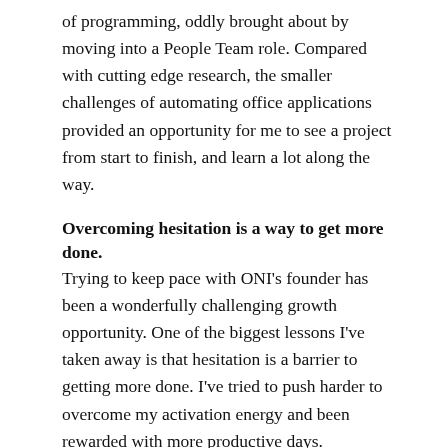of programming, oddly brought about by moving into a People Team role. Compared with cutting edge research, the smaller challenges of automating office applications provided an opportunity for me to see a project from start to finish, and learn a lot along the way.
Overcoming hesitation is a way to get more done.
Trying to keep pace with ONI's founder has been a wonderfully challenging growth opportunity. One of the biggest lessons I've taken away is that hesitation is a barrier to getting more done. I've tried to push harder to overcome my activation energy and been rewarded with more productive days.
People will talk if you ask nicely
Thank you to the people who spoke with me this year. Working in Talent Acquisition led me to (virtually) meet many people over the last few months, and it has been a